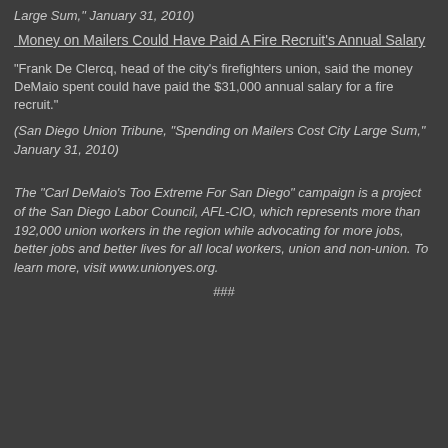Large Sum," January 31, 2010)
Money on Mailers Could Have Paid A Fire Recruit's Annual Salary
“Frank De Clercq, head of the city’s firefighters union, said the money DeMaio spent could have paid the $31,000 annual salary for a fire recruit.”
(San Diego Union Tribune, “Spending on Mailers Cost City Large Sum,” January 31, 2010)
The “Carl DeMaio’s Too Extreme For San Diego” campaign is a project of the San Diego Labor Council, AFL-CIO, which represents more than 192,000 union workers in the region while advocating for more jobs, better jobs and better lives for all local workers, union and non-union. To learn more, visit www.unionyes.org.
###